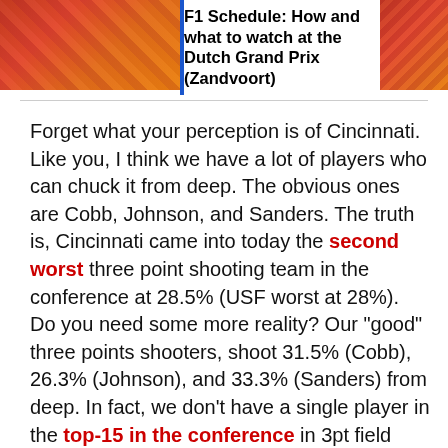[Figure (photo): Crowd photo background with orange/red tones used as header image]
F1 Schedule: How and what to watch at the Dutch Grand Prix (Zandvoort)
Forget what your perception is of Cincinnati. Like you, I think we have a lot of players who can chuck it from deep. The obvious ones are Cobb, Johnson, and Sanders. The truth is, Cincinnati came into today the second worst three point shooting team in the conference at 28.5% (USF worst at 28%). Do you need some more reality? Our "good" three points shooters, shoot 31.5% (Cobb), 26.3% (Johnson), and 33.3% (Sanders) from deep. In fact, we don't have a single player in the top-15 in the conference in 3pt field goal percentage. That being said...